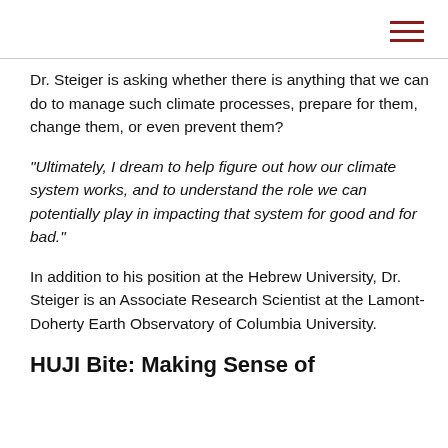Dr. Steiger is asking whether there is anything that we can do to manage such climate processes, prepare for them, change them, or even prevent them?
“Ultimately, I dream to help figure out how our climate system works, and to understand the role we can potentially play in impacting that system for good and for bad.”
In addition to his position at the Hebrew University, Dr. Steiger is an Associate Research Scientist at the Lamont-Doherty Earth Observatory of Columbia University.
HUJI Bite: Making Sense of